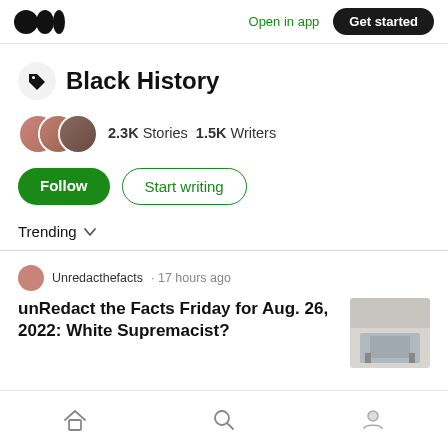Medium logo | Open in app | Get started
Black History
2.3K Stories  1.5K Writers
Follow  Start writing
Trending
Unredacthefacts · 17 hours ago
unRedact the Facts Friday for Aug. 26, 2022: White Supremacist?
Home | Search | Profile